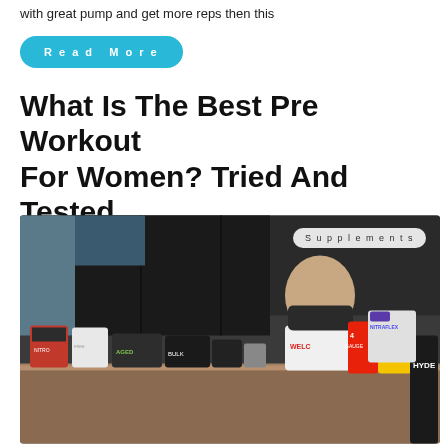with great pump and get more reps then this
Read More
What Is The Best Pre Workout For Women? Tried And Tested
[Figure (photo): A woman sitting behind a desk covered with various pre-workout supplement containers including 4 Gauge, C4, HYDE, NITRAFLEX, and others. A 'Supplements' badge appears in the upper right corner of the image.]